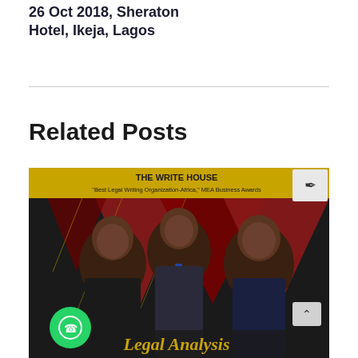26 Oct 2018, Sheraton Hotel, Ikeja, Lagos
Related Posts
[Figure (photo): The Write House event promotional image showing three men in formal attire with text 'THE WRITE HOUSE Best Legal Writing Organization-Africa, MEA Business Awards' and 'Legal Analysis' at the bottom]